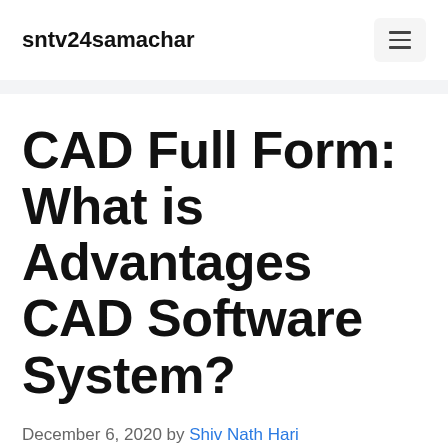sntv24samachar
CAD Full Form: What is Advantages CAD Software System?
December 6, 2020 by Shiv Nath Hari